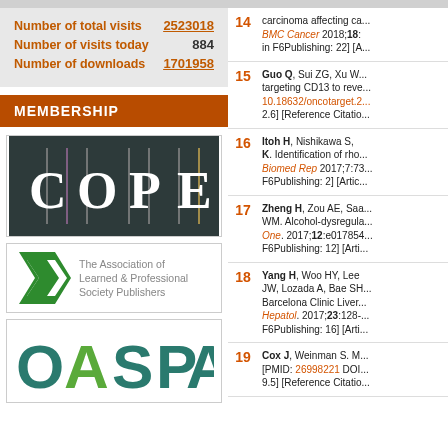Number of total visits 2523018
Number of visits today 884
Number of downloads 1701958
MEMBERSHIP
[Figure (logo): COPE logo - dark teal background with vertical colored lines and letters C|O|P|E in white serif font]
[Figure (logo): The Association of Learned & Professional Society Publishers logo with green chevron/arrow shape]
[Figure (logo): OASPA logo in teal and green block letters]
14 - BMC Cancer 2018;18: [Reference Citation in F6Publishing: 22]
15 - Guo Q, Sui ZG, Xu W - targeting CD13 to reve... 10.18632/oncotarget.2... 2.6] [Reference Citatio...
16 - Itoh H, Nishikawa S, K. Identification of rho... Biomed Rep 2017;7:73... F6Publishing: 2] [Artic...
17 - Zheng H, Zou AE, Saa... WM. Alcohol-dysregula... One. 2017;12:e017854... F6Publishing: 12] [Arti...
18 - Yang H, Woo HY, Lee JW, Lozada A, Bae SH - Barcelona Clinic Liver... Hepatol. 2017;23:128-... F6Publishing: 16] [Arti...
19 - Cox J, Weinman S. M... [PMID: 26998221 DOI... 9.5] [Reference Citatio...